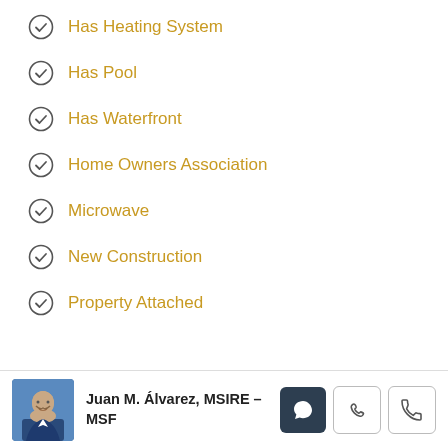Has Heating System
Has Pool
Has Waterfront
Home Owners Association
Microwave
New Construction
Property Attached
Juan M. Álvarez, MSIRE – MSF